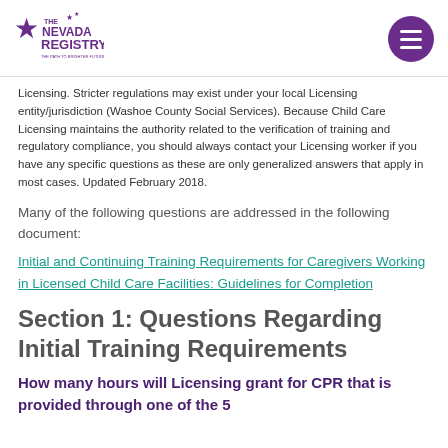The Nevada Registry — The Path to Brighter Futures
Licensing. Stricter regulations may exist under your local Licensing entity/jurisdiction (Washoe County Social Services). Because Child Care Licensing maintains the authority related to the verification of training and regulatory compliance, you should always contact your Licensing worker if you have any specific questions as these are only generalized answers that apply in most cases. Updated February 2018.
Many of the following questions are addressed in the following document:
Initial and Continuing Training Requirements for Caregivers Working in Licensed Child Care Facilities: Guidelines for Completion
Section 1: Questions Regarding Initial Training Requirements
How many hours will Licensing grant for CPR that is provided through one of the 5